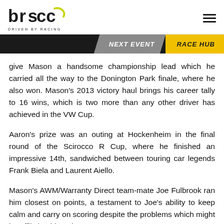brscc DRIVEN BY RACING
give Mason a handsome championship lead which he carried all the way to the Donington Park finale, where he also won. Mason's 2013 victory haul brings his career tally to 16 wins, which is two more than any other driver has achieved in the VW Cup.
Aaron's prize was an outing at Hockenheim in the final round of the Scirocco R Cup, where he finished an impressive 14th, sandwiched between touring car legends Frank Biela and Laurent Aiello.
Mason's AWM/Warranty Direct team-mate Joe Fulbrook ran him closest on points, a testament to Joe's ability to keep calm and carry on scoring despite the problems which might be afflicting him. Those